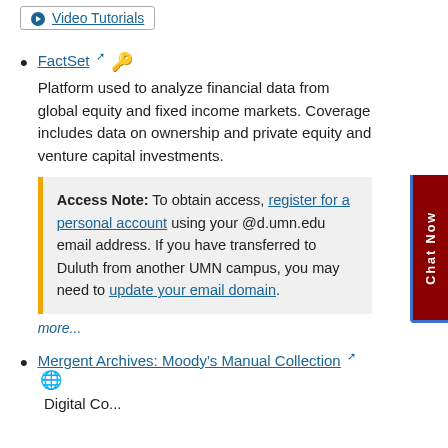Video Tutorials
FactSet [external link] [key icon] — Platform used to analyze financial data from global equity and fixed income markets. Coverage includes data on ownership and private equity and venture capital investments.
Access Note: To obtain access, register for a personal account using your @d.umn.edu email address. If you have transferred to Duluth from another UMN campus, you may need to update your email domain.
more...
Mergent Archives: Moody's Manual Collection [external link] [globe icon]
Digital Co... M... d... i... l d...